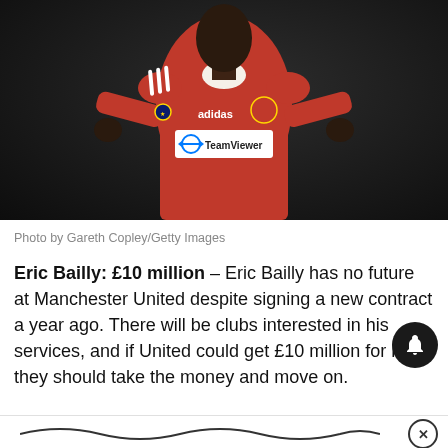[Figure (photo): Eric Bailly wearing Manchester United red Adidas kit with TeamViewer sponsor and Champions League badge, dark background, hands on hips]
Photo by Gareth Copley/Getty Images
Eric Bailly: £10 million – Eric Bailly has no future at Manchester United despite signing a new contract a year ago. There will be clubs interested in his services, and if United could get £10 million for him, they should take the money and move on.